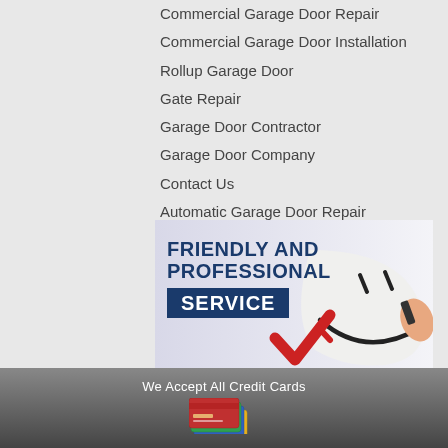Commercial Garage Door Repair
Commercial Garage Door Installation
Rollup Garage Door
Gate Repair
Garage Door Contractor
Garage Door Company
Contact Us
Automatic Garage Door Repair
[Figure (illustration): Promotional banner with text 'FRIENDLY AND PROFESSIONAL SERVICE' in dark blue and white on blue background, with a hand-drawn smiley face and a red checkmark]
We Accept All Credit Cards
[Figure (illustration): Stack of colorful credit cards illustration]